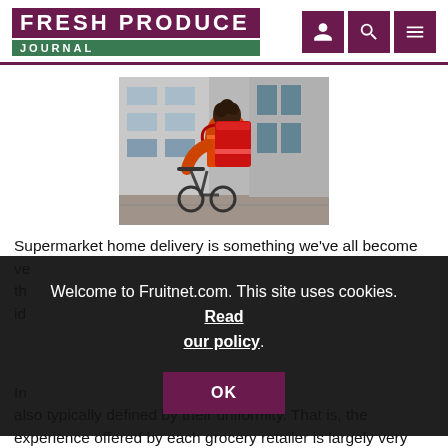FRESH PRODUCE JOURNAL
[Figure (photo): A delivery person seen from behind, wearing an orange jacket and carrying a large red insulated delivery bag, standing next to a bicycle in front of a modern building.]
Supermarket home delivery is something we've all become ve... th... id... .
In... also typically defined by their uniformity. That is, the experience offered by each grocery retailer is largely very
Welcome to Fruitnet.com. This site uses cookies. Read our policy.